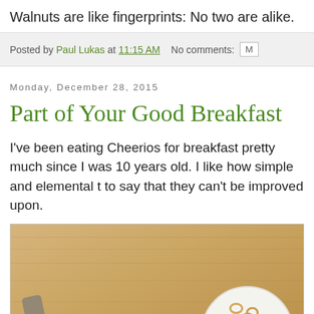Walnuts are like fingerprints: No two are alike.
Posted by Paul Lukas at 11:15 AM   No comments:
Monday, December 28, 2015
Part of Your Good Breakfast
I've been eating Cheerios for breakfast pretty much since I was 10 years old. I like how simple and elemental t... to say that they can't be improved upon.
[Figure (photo): Overhead photo of a wooden table with a white bowl containing Cheerios and a metal shaker/grater.]